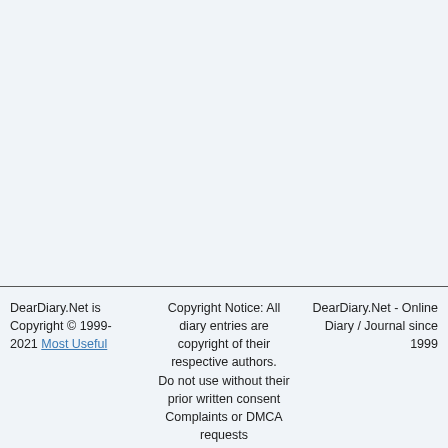DearDiary.Net is Copyright © 1999-2021 Most Useful | Copyright Notice: All diary entries are copyright of their respective authors. Do not use without their prior written consent Complaints or DMCA requests | DearDiary.Net - Online Diary / Journal since 1999